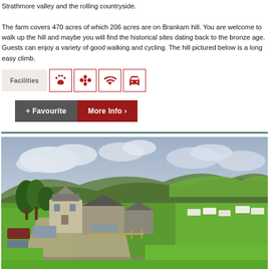Strathmore valley and the rolling countryside.

The farm covers 470 acres of which 206 acres are on Brankam hill. You are welcome to walk up the hill and maybe you will find the historical sites dating back to the bronze age. Guests can enjoy a variety of good walking and cycling. The hill pictured below is a long easy climb.
Facilities [icons: pet-friendly, garden/flowers, wifi, parking]
+ Favourite   More Info ›
[Figure (photo): Aerial view of a Scottish farm with stone buildings, parked cars, green fields, rolling hills, and caravans in the distance under a cloudy sky.]